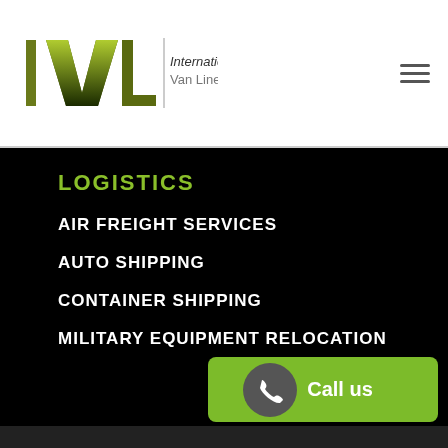[Figure (logo): International Van Lines logo with IVL graphic mark and text 'International Van Lines']
LOGISTICS
AIR FREIGHT SERVICES
AUTO SHIPPING
CONTAINER SHIPPING
MILITARY EQUIPMENT RELOCATION
[Figure (other): Green 'Call us' button with phone icon]